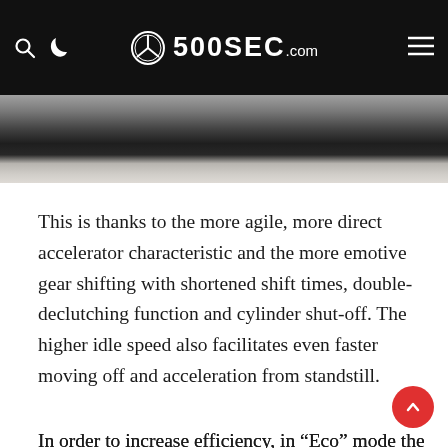500SEC.com
[Figure (photo): Close-up black and white photo of a car tire on a road surface]
This is thanks to the more agile, more direct accelerator characteristic and the more emotive gear shifting with shortened shift times, double-declutching function and cylinder shut-off. The higher idle speed also facilitates even faster moving off and acceleration from standstill.
In order to increase efficiency, in “Eco” mode the ECO start/stop function and the gliding function reduce fuel consumption: when the driver releases the accelerator in a speed range between 60 and 160 km/h, the clutch is disconnected and the engine is decoupled from the powertrain